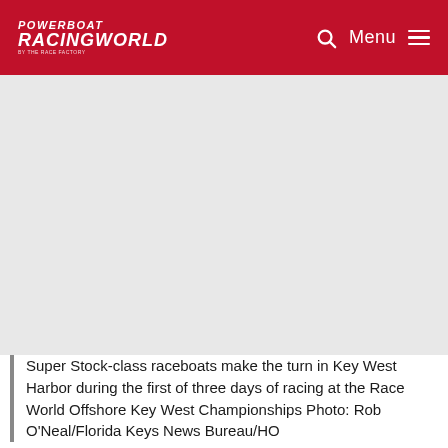POWERBOAT RACINGWORLD
[Figure (photo): Gray placeholder area representing a photo of Super Stock-class raceboats making a turn in Key West Harbor during the Race World Offshore Key West Championships.]
Super Stock-class raceboats make the turn in Key West Harbor during the first of three days of racing at the Race World Offshore Key West Championships Photo: Rob O'Neal/Florida Keys News Bureau/HO